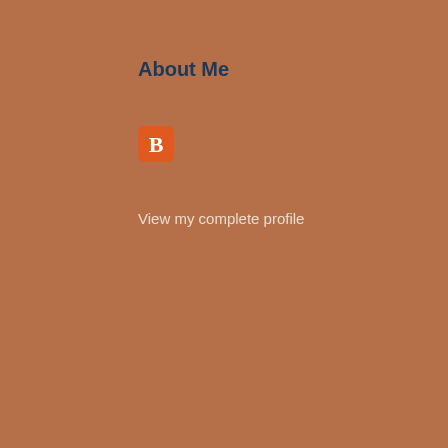About Me
[Figure (logo): Blogger orange rounded square icon]
View my complete profile
when Alex goes back t... month or two I will get myself. Not that I am a "normal" or at least wh...
Have a great week folk...
Written By Unknown on M...
3 comments:
Diana Rajchel sa...
So are you using past 3 years, and
December 27, 20...